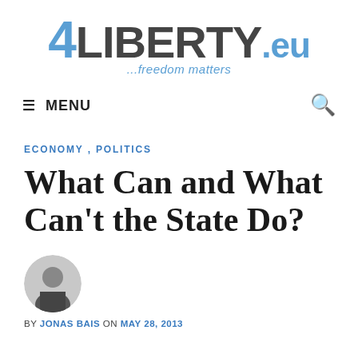4LIBERTY.eu ...freedom matters
≡ MENU
ECONOMY, POLITICS
What Can and What Can't the State Do?
[Figure (photo): Author headshot photo of Jonas Bais, circular crop, man in suit]
BY JONAS BAIS ON MAY 28, 2013